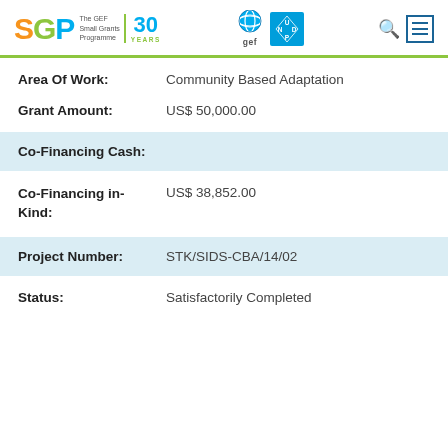SGP The GEF Small Grants Programme 30 YEARS | gef | UNDP
Area Of Work: Community Based Adaptation
Grant Amount: US$ 50,000.00
Co-Financing Cash:
Co-Financing in-Kind: US$ 38,852.00
Project Number: STK/SIDS-CBA/14/02
Status: Satisfactorily Completed